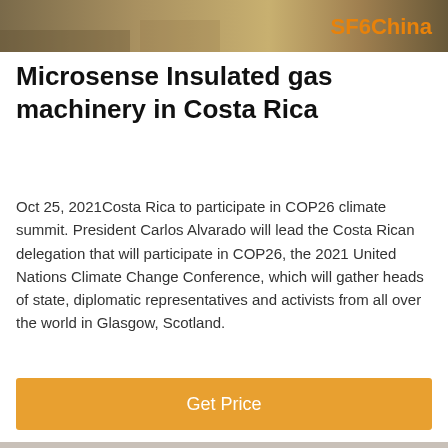[Figure (photo): Top banner image showing landscape/terrain with SF6China logo text in orange on the right side]
Microsense Insulated gas machinery in Costa Rica
Oct 25, 2021Costa Rica to participate in COP26 climate summit. President Carlos Alvarado will lead the Costa Rican delegation that will participate in COP26, the 2021 United Nations Climate Change Conference, which will gather heads of state, diplomatic representatives and activists from all over the world in Glasgow, Scotland.
[Figure (illustration): Orange Get Price call-to-action button]
[Figure (photo): Bottom strip showing industrial/electrical equipment images including transmission tower and satellite dish, with Leave Message and Chat Online footer links and a customer service representative avatar]